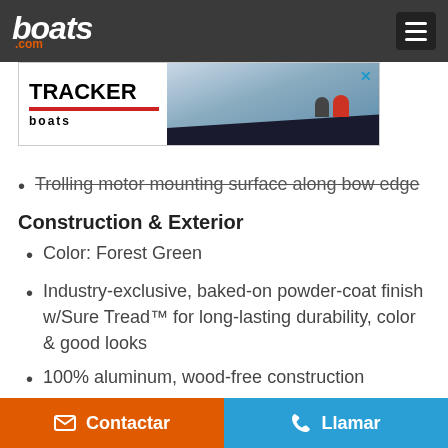boats.com
[Figure (photo): TRACKER boats advertisement banner showing a dark fishing boat on water with two people aboard]
Trolling motor mounting surface along bow edge
Construction & Exterior
Color: Forest Green
Industry-exclusive, baked-on powder-coat finish w/Sure Tread™ for long-lasting durability, color & good looks
100% aluminum, wood-free construction
Thick .190 aluminum floor for added rigidity & a quieter ride
7° deadrise for a smoother, drier ride
Contactar  Llamar